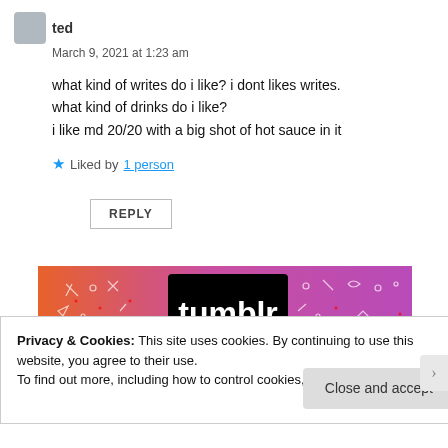ted
March 9, 2021 at 1:23 am
what kind of writes do i like? i dont likes writes.
what kind of drinks do i like?
i like md 20/20 with a big shot of hot sauce in it
★ Liked by 1 person
REPLY
[Figure (screenshot): Tumblr advertisement banner with orange-to-pink gradient background and white 'tumblr' logo text]
Privacy & Cookies: This site uses cookies. By continuing to use this website, you agree to their use.
To find out more, including how to control cookies, see here: Cookie Policy
Close and accept